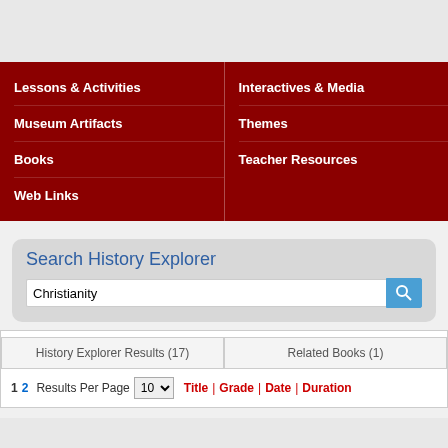Lessons & Activities
Interactives & Media
Museum Artifacts
Themes
Books
Teacher Resources
Web Links
Search History Explorer
Christianity
| History Explorer Results (17) | Related Books (1) |
| --- | --- |
1  2  Results Per Page  10  Title | Grade | Date | Duration